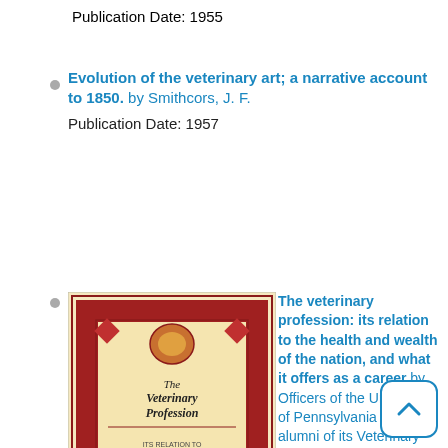Publication Date: 1955
Evolution of the veterinary art; a narrative account to 1850. by Smithcors, J. F.
Publication Date: 1957
[Figure (photo): Book cover of 'The Veterinary Profession' with ornate decorative border in red and blue patterns on a beige/tan background, with text including 'The Veterinary Profession']
The veterinary profession: its relation to the health and wealth of the nation, and what it offers as a career by Officers of the University of Pennsylvania and alumni of its Veterinary School
Call Number: SF747.P4 1897
Publication Date: 1897
This pamphlet, published in 1897, contains a number of short articles, by several members of the emerging veterinary profession, describing some of the aspects of veterinary work, and its relation to the health and wealth of the nation.